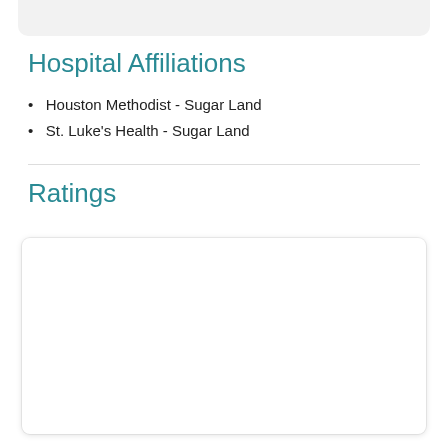Hospital Affiliations
Houston Methodist - Sugar Land
St. Luke's Health - Sugar Land
Ratings
Alice H   Aug 12, 2022
★★★★★
I like that he took time to listen to my complaints and tried to help me .
Other people's reviews do not guarantee specific results; your experience may vary.